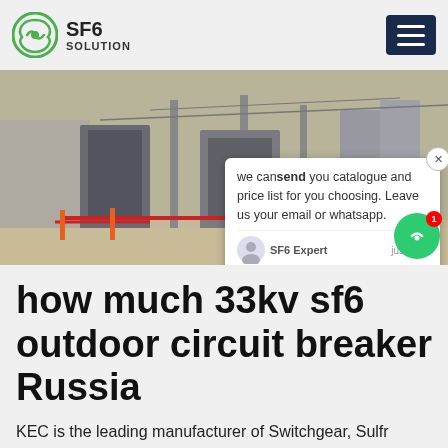SF6 SOLUTION
[Figure (photo): Outdoor electrical substation with large transformer equipment, metal structures, and red safety barriers visible. A chat popup overlay is visible with text: 'we can send you catalogue and price list for you choosing. Leave us your email or whatsapp.' SF6 Expert just now.]
how much 33kv sf6 outdoor circuit breaker Russia
KEC is the leading manufacturer of Switchgear, Sulfr hexafluoride Circuit Breaker, Electrical switchgear manufacturers in 3 type 11kV, 22kV and